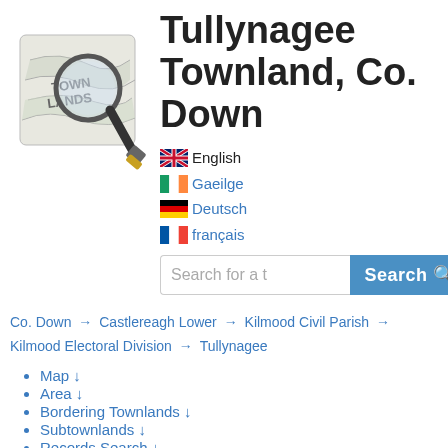[Figure (illustration): Townlands logo: a magnifying glass over a map with text TOWN LANDS]
Tullynagee Townland, Co. Down
English (flag: UK)
Gaeilge (flag: Ireland)
Deutsch (flag: Germany)
français (flag: France)
Search for a t [Search]
Co. Down → Castlereagh Lower → Kilmood Civil Parish → Kilmood Electoral Division → Tullynagee
Map ↓
Area ↓
Bordering Townlands ↓
Subtownlands ↓
Records Search ↓